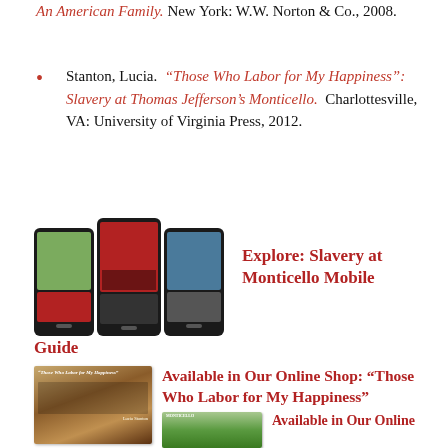An American Family. New York: W.W. Norton & Co., 2008.
Stanton, Lucia. "Those Who Labor for My Happiness": Slavery at Thomas Jefferson's Monticello. Charlottesville, VA: University of Virginia Press, 2012.
[Figure (photo): Three smartphone screens showing the Slavery at Monticello Mobile Guide app]
Explore: Slavery at Monticello Mobile Guide
[Figure (photo): Book cover of 'Those Who Labor for My Happiness' by Lucia Stanton]
Available in Our Online Shop: “Those Who Labor for My Happiness”
[Figure (photo): Book cover of another Monticello publication]
Available in Our Online